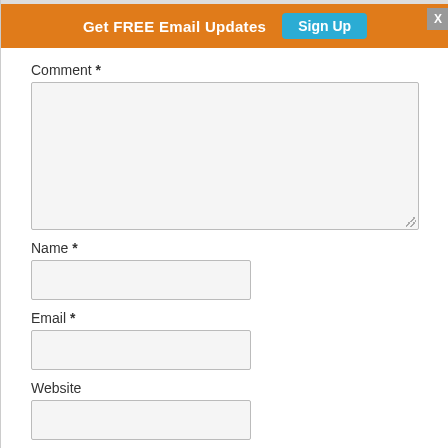Get FREE Email Updates  Sign Up  X
Comment *
[Figure (screenshot): Large textarea input box for comment, empty, with resize handle at bottom right]
Name *
[Figure (screenshot): Text input box for Name field, empty]
Email *
[Figure (screenshot): Text input box for Email field, empty]
Website
[Figure (screenshot): Text input box for Website field, empty, partially visible]